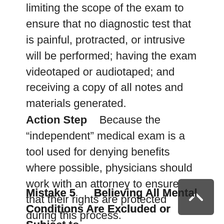limiting the scope of the exam to ensure that no diagnostic test that is painful, protracted, or intrusive will be performed; having the exam videotaped or audiotaped; and receiving a copy of all notes and materials generated.
Action Step   Because the “independent” medical exam is a tool used for denying benefits where possible, physicians should work with an attorney to ensure that their rights are protected during this process.
Mistake 5      Believing All Mental Conditions Are Excluded or Subject to Limitations